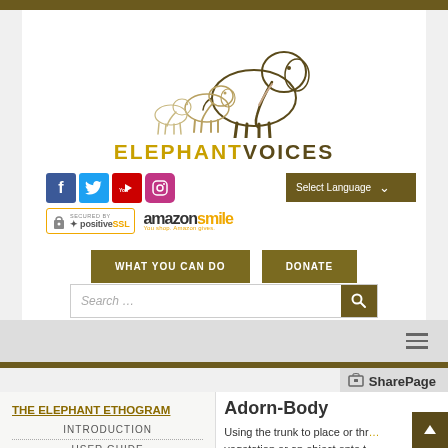[Figure (logo): ElephantVoices logo with elephant illustration and brand name]
[Figure (screenshot): Social media icons: Facebook, Twitter, YouTube, Instagram]
[Figure (screenshot): Select Language dropdown button]
[Figure (screenshot): Secured by PositiveSSL badge and Amazon Smile logo]
[Figure (screenshot): WHAT YOU CAN DO and DONATE action buttons]
[Figure (screenshot): Search bar with search icon]
[Figure (screenshot): Navigation hamburger menu in gray band]
SharePage
THE ELEPHANT ETHOGRAM
Adorn-Body
INTRODUCTION
USER GUIDE
Using the trunk to place or throw vegetation or an object onto the body